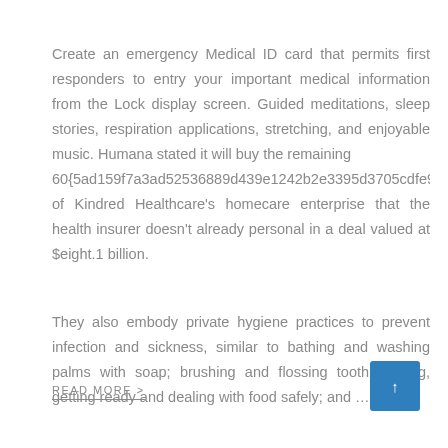Create an emergency Medical ID card that permits first responders to entry your important medical information from the Lock display screen. Guided meditations, sleep stories, respiration applications, stretching, and enjoyable music. Humana stated it will buy the remaining 60{5ad159f7a3ad52536889d439e1242b2e3395d3705cdfe9071 of Kindred Healthcare's homecare enterprise that the health insurer doesn't already personal in a deal valued at $eight.1 billion.
They also embody private hygiene practices to prevent infection and sickness, similar to bathing and washing palms with soap; brushing and flossing tooth; storing, getting ready and dealing with food safely; and …
READ MORE >